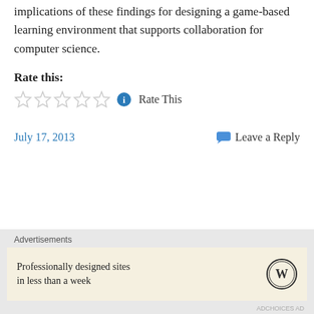implications of these findings for designing a game-based learning environment that supports collaboration for computer science.
Rate this:
[Figure (other): Five empty star rating icons followed by an info icon and 'Rate This' text]
July 17, 2013
Leave a Reply
View Full Site
Advertisements
Professionally designed sites in less than a week